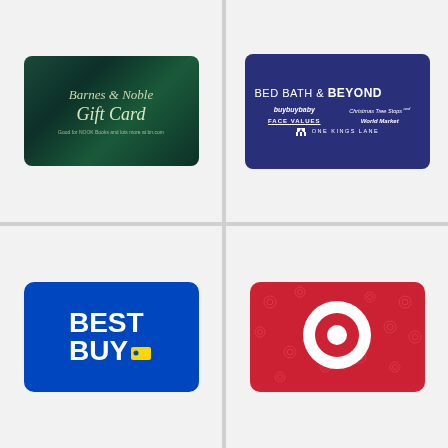[Figure (illustration): Barnes & Noble Gift Card - dark green marbled background with cream/gold italic script text reading 'Barnes & Noble Gift Card. Good for NOOK Books and lots more at bn.com']
[Figure (illustration): Bed Bath & Beyond gift card - dark navy blue background with white text logos: BED BATH & BEYOND, buybuyBABY, Christmas Tree Shops, FACE VALUES, WORLD MARKET, ONE KINGS LANE]
[Figure (illustration): Best Buy gift card - royal blue background with white bold text 'BEST BUY.' and yellow price tag logo]
[Figure (illustration): Target gift card - red background with subtle red pattern icons and large white bullseye Target logo in center]